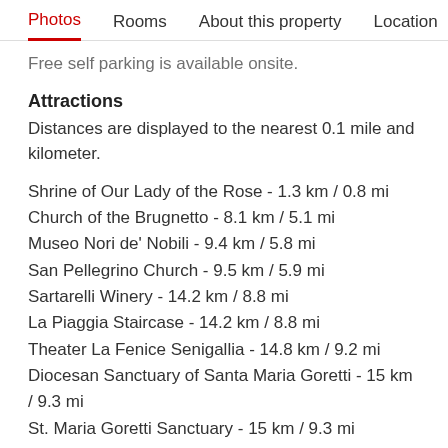Photos  Rooms  About this property  Location
Free self parking is available onsite.
Attractions
Distances are displayed to the nearest 0.1 mile and kilometer.
Shrine of Our Lady of the Rose - 1.3 km / 0.8 mi
Church of the Brugnetto - 8.1 km / 5.1 mi
Museo Nori de' Nobili - 9.4 km / 5.8 mi
San Pellegrino Church - 9.5 km / 5.9 mi
Sartarelli Winery - 14.2 km / 8.8 mi
La Piaggia Staircase - 14.2 km / 8.8 mi
Theater La Fenice Senigallia - 14.8 km / 9.2 mi
Diocesan Sanctuary of Santa Maria Goretti - 15 km / 9.3 mi
St. Maria Goretti Sanctuary - 15 km / 9.3 mi